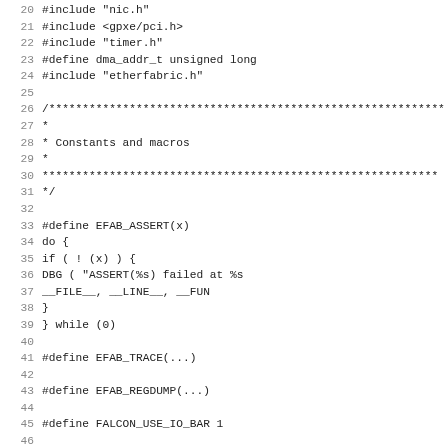Source code listing lines 20-51, showing C preprocessor includes and macro definitions for EFAB_ASSERT, EFAB_TRACE, EFAB_REGDUMP, FALCON_USE_IO_BAR, and EtherFabric constants comment block.